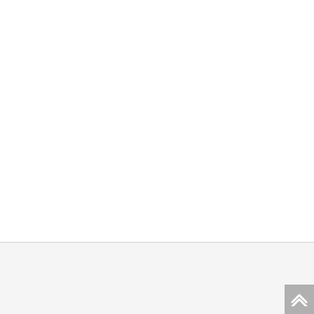What is Vision | Machine Vision
Machine vision is the technology and methods used to